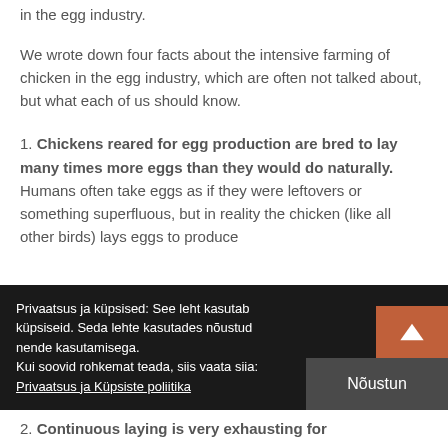in the egg industry.
We wrote down four facts about the intensive farming of chicken in the egg industry, which are often not talked about, but what each of us should know.
1. Chickens reared for egg production are bred to lay many times more eggs than they would do naturally. Humans often take eggs as if they were leftovers or something superfluous, but in reality the chicken (like all other birds) lays eggs to produce
Privaatsus ja küpsised: See leht kasutab küpsiseid. Seda lehte kasutades nõustud nende kasutamisega.
Kui soovid rohkemat teada, siis vaata siia: Privaatsus ja Küpsiste poliitika
2. Continuous laying is very exhausting for